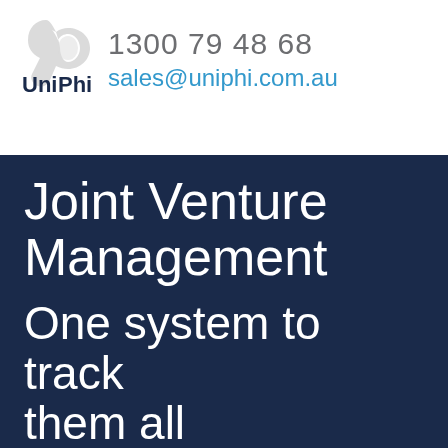[Figure (logo): UniPhi logo with stylized ampersand/phi symbol in grey and navy blue]
1300 79 48 68
sales@uniphi.com.au
Joint Venture Management
One system to track them all
Integrate multiple partners and sub-